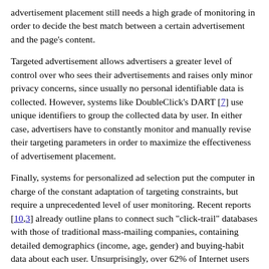advertisement placement still needs a high grade of monitoring in order to decide the best match between a certain advertisement and the page's content.
Targeted advertisement allows advertisers a greater level of control over who sees their advertisements and raises only minor privacy concerns, since usually no personal identifiable data is collected. However, systems like DoubleClick's DART [7] use unique identifiers to group the collected data by user. In either case, advertisers have to constantly monitor and manually revise their targeting parameters in order to maximize the effectiveness of advertisement placement.
Finally, systems for personalized ad selection put the computer in charge of the constant adaptation of targeting constraints, but require a unprecedented level of user monitoring. Recent reports [10,3] already outline plans to connect such "click-trail" databases with those of traditional mass-mailing companies, containing detailed demographics (income, age, gender) and buying-habit data about each user. Unsurprisingly, over 62% of Internet users do not trust sites collecting their online data [22, 9th survey] and more than two thirds ask for new laws on privacy [22, 8th survey].
2.3 Adaptive Targeting